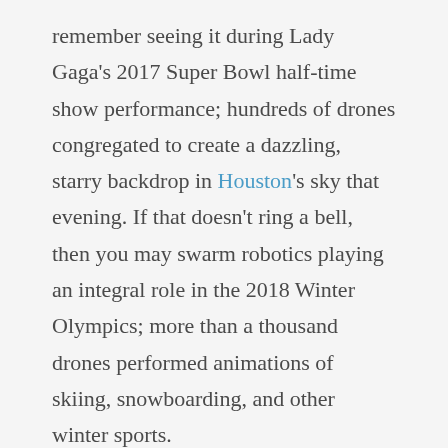remember seeing it during Lady Gaga's 2017 Super Bowl half-time show performance; hundreds of drones congregated to create a dazzling, starry backdrop in Houston's sky that evening. If that doesn't ring a bell, then you may swarm robotics playing an integral role in the 2018 Winter Olympics; more than a thousand drones performed animations of skiing, snowboarding, and other winter sports.
When robots work together instead of singularly, they introduce a greater potential for innovation in IoT.
What Is Swarm Robotics?